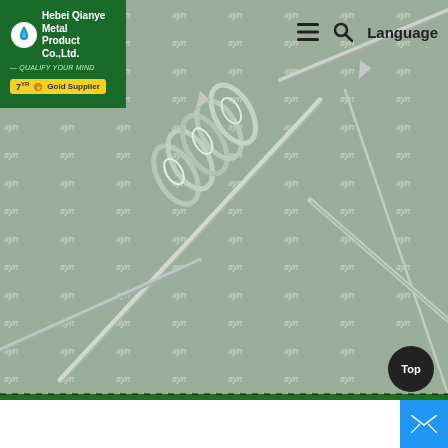[Figure (photo): Hero image of a galvanized barbed wire close-up with repeating watermark pattern 'ayn' in background. Navigation bar with hamburger menu, search icon, and Language text visible top right. Company logo for Hebei Qianye Metal Product Co., Ltd. with gold supplier badge (7YR) in top left green box.]
Hebei Qianye Metal Product Co.,Ltd. — QUALIFY YOUR MIND
7YR Gold Supplier
Language
Top